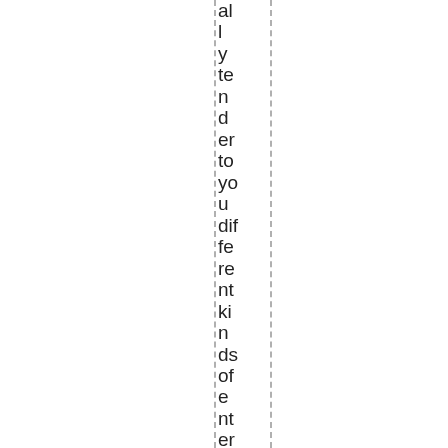ally tender to you different kinds of entertainment, placing